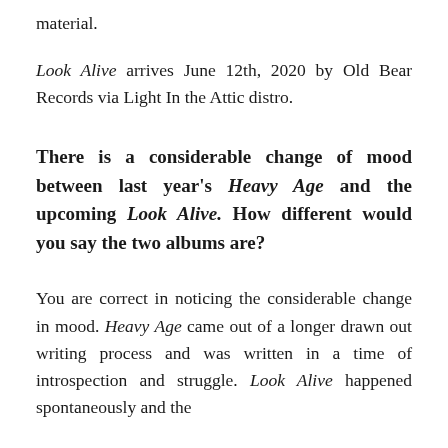material.
Look Alive arrives June 12th, 2020 by Old Bear Records via Light In the Attic distro.
There is a considerable change of mood between last year's Heavy Age and the upcoming Look Alive. How different would you say the two albums are?
You are correct in noticing the considerable change in mood. Heavy Age came out of a longer drawn out writing process and was written in a time of introspection and struggle. Look Alive happened spontaneously and the